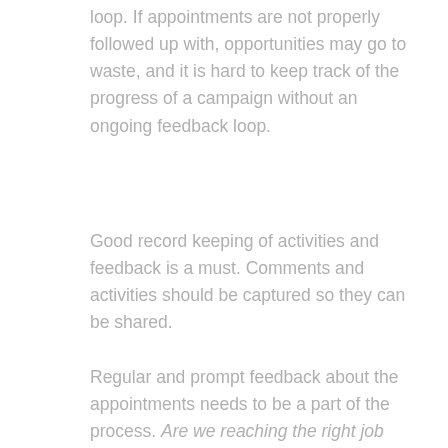loop. If appointments are not properly followed up with, opportunities may go to waste, and it is hard to keep track of the progress of a campaign without an ongoing feedback loop.
Good record keeping of activities and feedback is a must. Comments and activities should be captured so they can be shared.
Regular and prompt feedback about the appointments needs to be a part of the process. Are we reaching the right job titles? Do they express interest? What else are we able to find out during the initial calls?